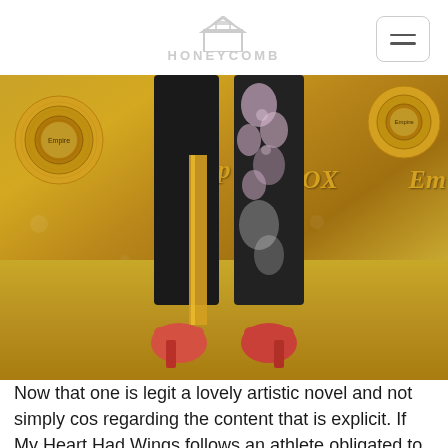HONEYCOMB
[Figure (photo): A person's lower body at what appears to be an Empire/FOX television event red carpet. They are wearing black pants with a floral pattern and a metallic gold stripe, and coral/salmon colored high heels. The backdrop features gold Empire records and text including 'Empire' and 'FOX'. The floor is a gold/tan carpet.]
Now that one is legit a lovely artistic novel and not simply cos regarding the content that is explicit. If My Heart Had Wings follows an athlete obligated to